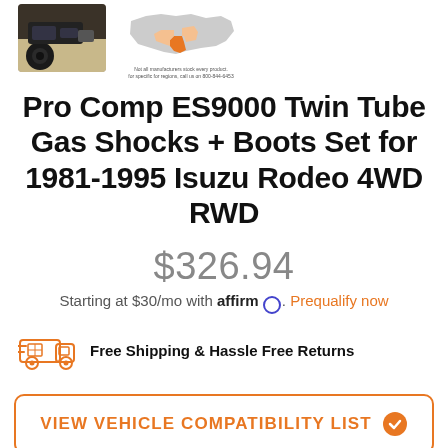[Figure (photo): Photo of an off-road truck with large tires on sandy terrain]
[Figure (map): Map of the United States with Texas highlighted in orange, with small caption text below]
Pro Comp ES9000 Twin Tube Gas Shocks + Boots Set for 1981-1995 Isuzu Rodeo 4WD RWD
$326.94
Starting at $30/mo with affirm. Prequalify now
[Figure (illustration): Orange shipping truck icon]
Free Shipping & Hassle Free Returns
VIEW VEHICLE COMPATIBILITY LIST